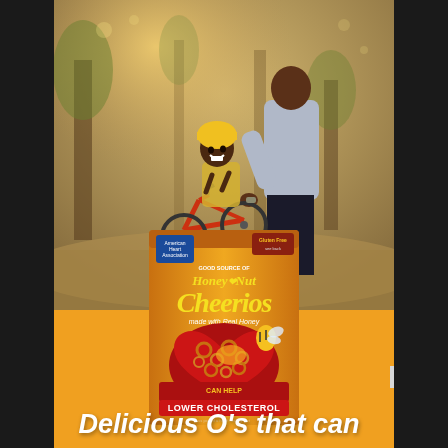[Figure (photo): An adult helping a child learn to ride a red bicycle in a park. The child is wearing a yellow helmet and laughing. Background shows trees and warm sunlight. Below the photo is an orange/golden curved background with a Honey Nut Cheerios cereal box placed prominently in the center.]
Delicious O's that can